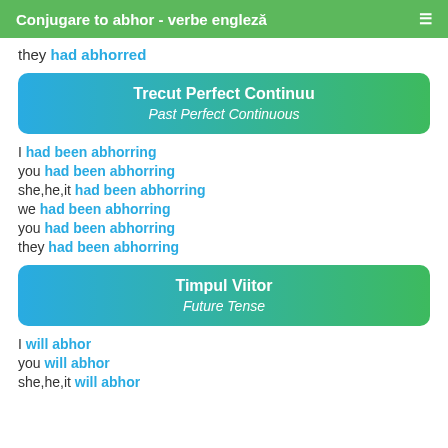Conjugare to abhor - verbe engleză
they had abhorred
Trecut Perfect Continuu
Past Perfect Continuous
I had been abhorring
you had been abhorring
she,he,it had been abhorring
we had been abhorring
you had been abhorring
they had been abhorring
Timpul Viitor
Future Tense
I will abhor
you will abhor
she,he,it will abhor